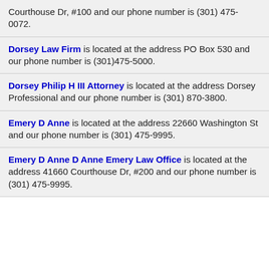Courthouse Dr, #100 and our phone number is (301) 475-0072.
Dorsey Law Firm is located at the address PO Box 530 and our phone number is (301)475-5000.
Dorsey Philip H III Attorney is located at the address Dorsey Professional and our phone number is (301) 870-3800.
Emery D Anne is located at the address 22660 Washington St and our phone number is (301) 475-9995.
Emery D Anne D Anne Emery Law Office is located at the address 41660 Courthouse Dr, #200 and our phone number is (301) 475-9995.